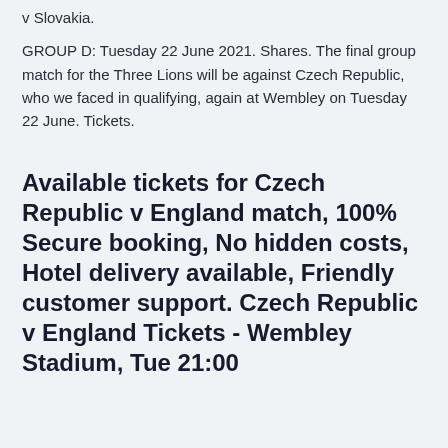v Slovakia.
GROUP D: Tuesday 22 June 2021. Shares. The final group match for the Three Lions will be against Czech Republic, who we faced in qualifying, again at Wembley on Tuesday 22 June. Tickets.
Available tickets for Czech Republic v England match, 100% Secure booking, No hidden costs, Hotel delivery available, Friendly customer support. Czech Republic v England Tickets - Wembley Stadium, Tue 21:00